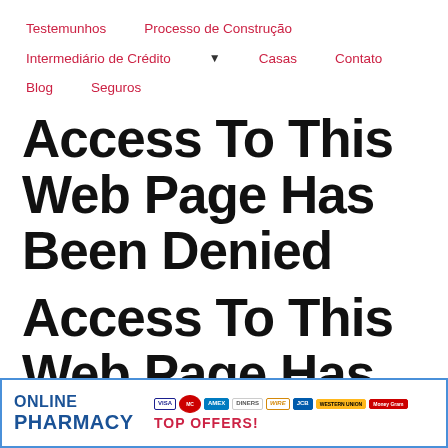Testemunhos   Processo de Construção   Intermediário de Crédito ▼   Casas   Contato   Blog   Seguros
Access To This Web Page Has Been Denied
Access To This Web Page Has Been Denied
[Figure (screenshot): Online Pharmacy banner ad with payment icons (VISA, Mastercard, AMEX, Diners, WIRE, JCB, Western Union, MoneyGram) and 'TOP OFFERS!' text]